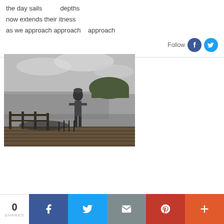the day sails          depths
now extends their itness
as we approach approach    approach
Follow
[Figure (photo): Black and white photo of a person standing on a wooden deck/boardwalk overlooking a beach and coastal landscape with a hill in the background under a cloudy sky.]
0 SHARES | Facebook | Twitter | Email | Pinterest | More